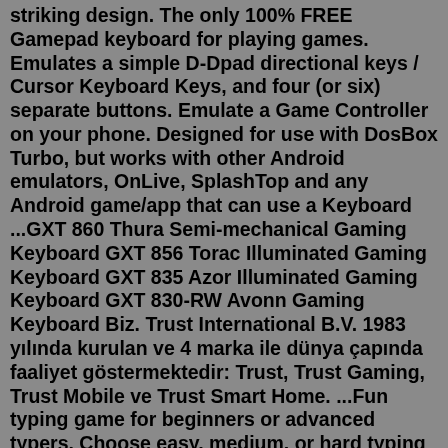striking design. The only 100% FREE Gamepad keyboard for playing games. Emulates a simple D-Dpad directional keys / Cursor Keyboard Keys, and four (or six) separate buttons. Emulate a Game Controller on your phone. Designed for use with DosBox Turbo, but works with other Android emulators, OnLive, SplashTop and any Android game/app that can use a Keyboard ...GXT 860 Thura Semi-mechanical Gaming Keyboard GXT 856 Torac Illuminated Gaming Keyboard GXT 835 Azor Illuminated Gaming Keyboard GXT 830-RW Avonn Gaming Keyboard Biz. Trust International B.V. 1983 yılında kurulan ve 4 marka ile dünya çapında faaliyet göstermektedir: Trust, Trust Gaming, Trust Mobile ve Trust Smart Home. ...Fun typing game for beginners or advanced typers. Choose easy, medium, or hard typing practice so you can improve your typing skills. Start now!The Xbox One allows Keyboard & Mouse to be used in Games & Apps. You'll be able to plug and play without the need for any extra peripherals. However, the Xbox One only